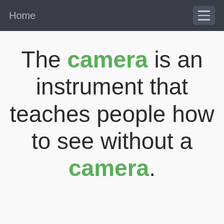Home
The camera is an instrument that teaches people how to see without a camera.